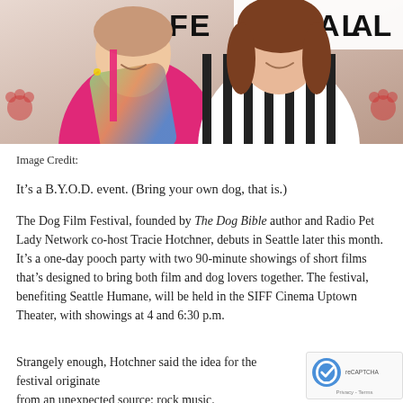[Figure (photo): Two women smiling at what appears to be a festival event. The woman on the left wears a pink top and colorful scarf. The woman on the right wears a black-and-white striped shirt. A festival sign is partially visible in the background along with dog/paw logos on the sides.]
Image Credit:
It’s a B.Y.O.D. event. (Bring your own dog, that is.)
The Dog Film Festival, founded by The Dog Bible author and Radio Pet Lady Network co-host Tracie Hotchner, debuts in Seattle later this month. It’s a one-day pooch party with two 90-minute showings of short films that’s designed to bring both film and dog lovers together. The festival, benefiting Seattle Humane, will be held in the SIFF Cinema Uptown Theater, with showings at 4 and 6:30 p.m.
Strangely enough, Hotchner said the idea for the festival originated from an unexpected source: rock music.